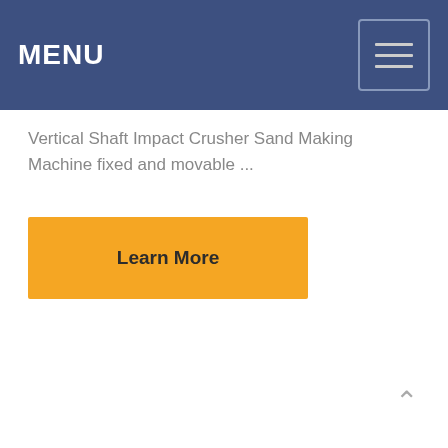MENU
Vertical Shaft Impact Crusher Sand Making Machine fixed and movable ...
Learn More